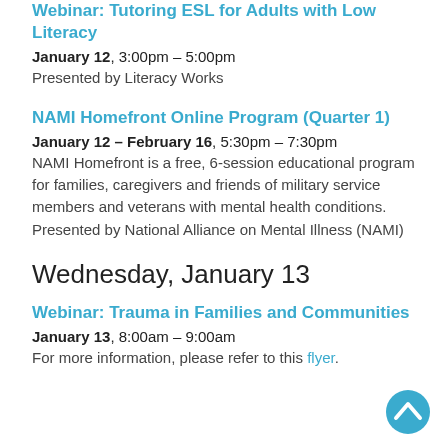Webinar: Tutoring ESL for Adults with Low Literacy
January 12, 3:00pm – 5:00pm
Presented by Literacy Works
NAMI Homefront Online Program (Quarter 1)
January 12 – February 16, 5:30pm – 7:30pm
NAMI Homefront is a free, 6-session educational program for families, caregivers and friends of military service members and veterans with mental health conditions.
Presented by National Alliance on Mental Illness (NAMI)
Wednesday, January 13
Webinar: Trauma in Families and Communities
January 13, 8:00am – 9:00am
For more information, please refer to this flyer.